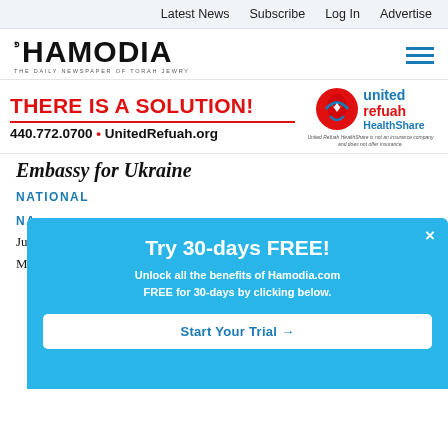Latest News   Subscribe   Log In   Advertise
[Figure (logo): Hamodia newspaper logo — THE DAILY NEWSPAPER OF TORAH JEWRY]
[Figure (infographic): United Refuah HealthShare advertisement: THERE IS A SOLUTION! 440.772.0700 • UnitedRefuah.org — with United Refuah HealthShare logo and disclaimer: United Refuah HealthShare is not an insurance company and does not offer insurance.]
Embassy for Ukraine
NATIONAL
NA
Jud
Ma
[Figure (screenshot): Popup overlay: Try 30-days FREE! Unlock all the benefits of Hamodia.com FREE for 30-days by clicking below. [Start Your Trial →] button. Close (×) button in top right.]